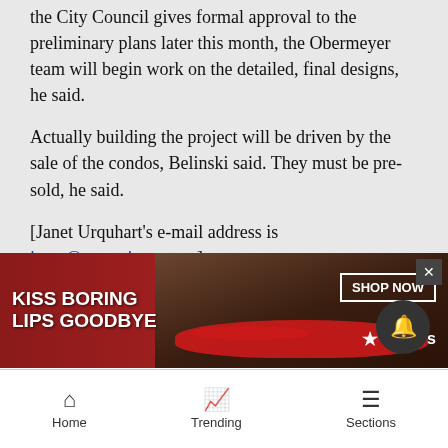the City Council gives formal approval to the preliminary plans later this month, the Obermeyer team will begin work on the detailed, final designs, he said.
Actually building the project will be driven by the sale of the condos, Belinski said. They must be pre-sold, he said.
[Janet Urquhart's e-mail address is janet@aspentimes.com]
News
[Figure (photo): Macy's advertisement banner: 'KISS BORING LIPS GOODBYE' with SHOP NOW button and Macy's logo, showing a woman's face with red lips]
Home   Trending   Sections